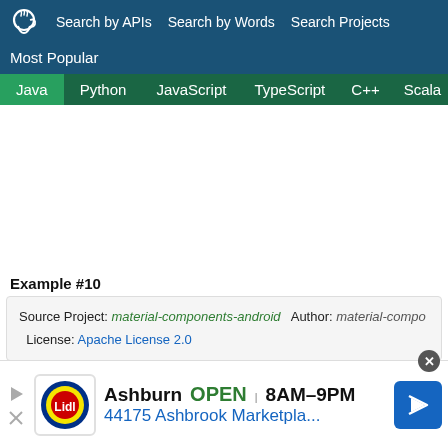Search by APIs  Search by Words  Search Projects
Most Popular
Java  Python  JavaScript  TypeScript  C++  Scala
Example #10
Source Project: material-components-android   Author: material-compo...   License: Apache License 2.0
[Figure (screenshot): Advertisement banner: Ashburn OPEN 8AM-9PM, 44175 Ashbrook Marketpla..., Lidl logo]